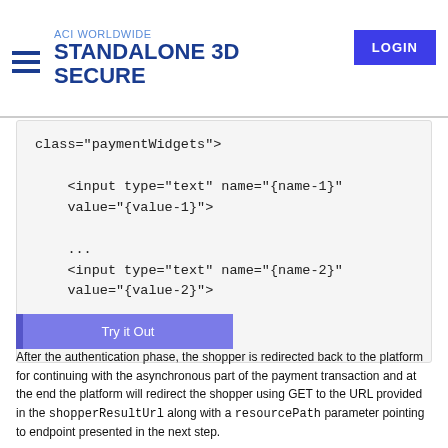ACI WORLDWIDE STANDALONE 3D SECURE  LOGIN
class="paymentWidgets">

    <input type="text" name="{name-1}" value="{value-1}">

    ...
    <input type="text" name="{name-2}" value="{value-2}">

</form>
Try it Out
After the authentication phase, the shopper is redirected back to the platform for continuing with the asynchronous part of the payment transaction and at the end the platform will redirect the shopper using GET to the URL provided in the shopperResultUrl along with a resourcePath parameter pointing to endpoint presented in the next step.